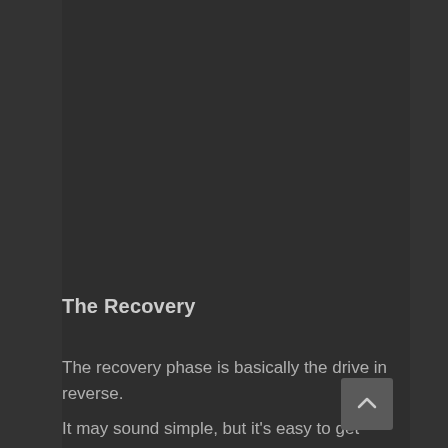The Recovery
The recovery phase is basically the drive in reverse. It may sound simple, but it's easy to get wrong.